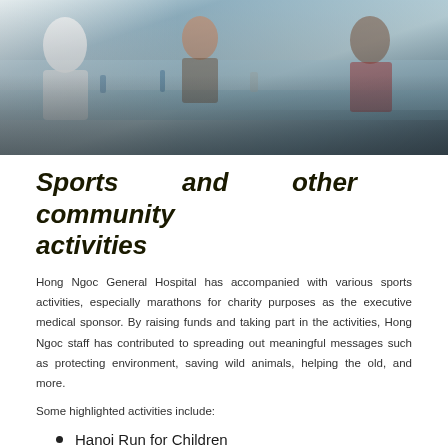[Figure (photo): People seated at tables with blue tablecloths in an event or meeting setting; blurred foreground with medical/community event context.]
Sports and other community activities
Hong Ngoc General Hospital has accompanied with various sports activities, especially marathons for charity purposes as the executive medical sponsor. By raising funds and taking part in the activities, Hong Ngoc staff has contributed to spreading out meaningful messages such as protecting environment, saving wild animals, helping the old, and more.
Some highlighted activities include:
Hanoi Run for Children
Song Hong Marathon
2gether Running
Long Bien Marathon